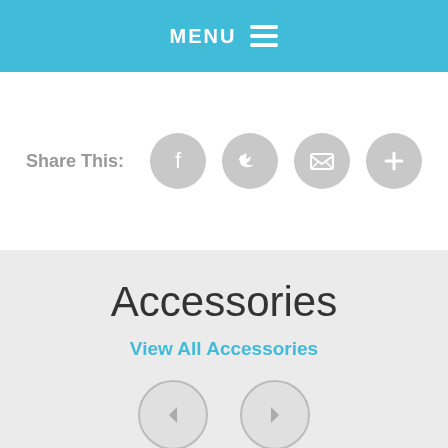MENU
Share This:
[Figure (infographic): Social sharing buttons: Facebook, Twitter, Email/Envelope, and Plus/More icons, each in a gray circle]
Accessories
View All Accessories
[Figure (infographic): Left and right navigation arrow buttons in gray circles for browsing accessories]
[Figure (photo): Partially visible product image at the bottom of the page, showing a gray rounded shape]